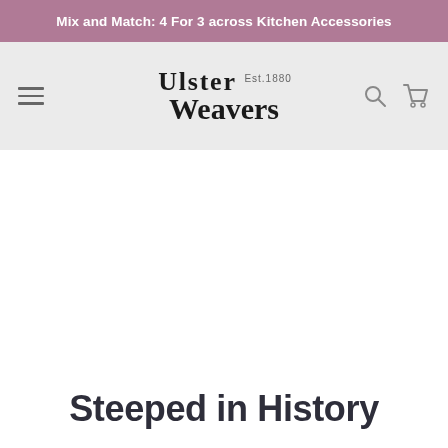Mix and Match: 4 For 3 across Kitchen Accessories
[Figure (logo): Ulster Weavers Est. 1880 logo in serif font on light grey navigation bar with hamburger menu, search icon, and cart icon]
Steeped in History